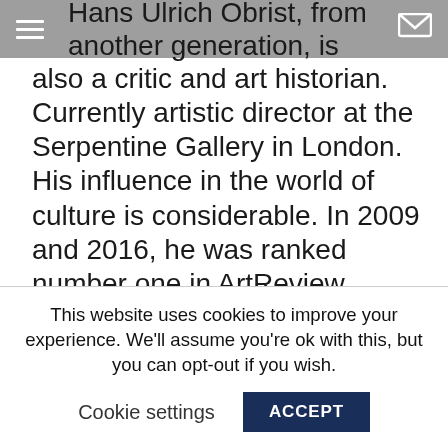Hans Ulrich Obrist, from another generation, is
also a critic and art historian. Currently artistic director at the Serpentine Gallery in London. His influence in the world of culture is considerable. In 2009 and 2016, he was ranked number one in ArtReview magazine’s 100 Most Influential People in Contemporary Art. On Instagram, more than 320,000 people follow his thoughts, readings, recommendations, reviews and mood posts, but also those of artists he comes across in his daily life.
Vous cherchez une agence de communication digitale ?
This website uses cookies to improve your experience. We’ll assume you’re ok with this, but you can opt-out if you wish.
Cookie settings   ACCEPT